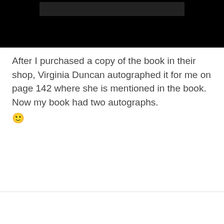[Figure (photo): Dark/black image block at the top of the page, likely a photograph]
After I purchased a copy of the book in their shop, Virginia Duncan autographed it for me on page 142 where she is mentioned in the book. Now my book had two autographs. 🙂